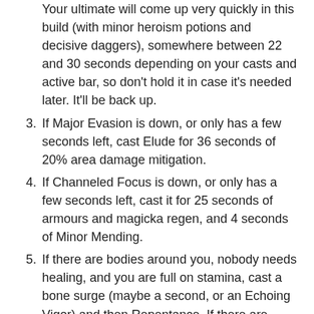Your ultimate will come up very quickly in this build (with minor heroism potions and decisive daggers), somewhere between 22 and 30 seconds depending on your casts and active bar, so don't hold it in case it's needed later. It'll be back up.
3. If Major Evasion is down, or only has a few seconds left, cast Elude for 36 seconds of 20% area damage mitigation.
4. If Channeled Focus is down, or only has a few seconds left, cast it for 25 seconds of armours and magicka regen, and 4 seconds of Minor Mending.
5. If there are bodies around you, nobody needs healing, and you are full on stamina, cast a bone surge (maybe a second, or an Echoing Vigor) and then Repentance. If there are bodies around you and people need healing, Repentance is your next